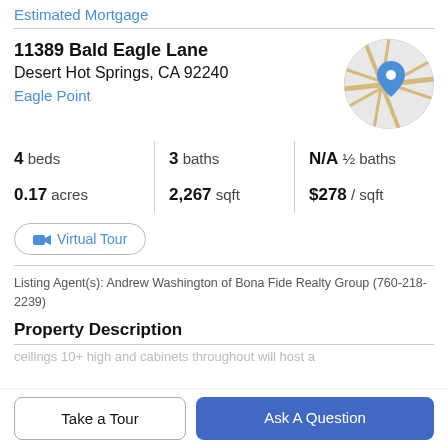Estimated Mortgage
11389 Bald Eagle Lane
Desert Hot Springs, CA 92240
Eagle Point
[Figure (map): Circular map thumbnail showing the property location with a blue pin marker, street layout visible in a grey and tan color scheme.]
4 beds   3 baths   N/A ½ baths
0.17 acres   2,267 sqft   $278 / sqft
Virtual Tour
Listing Agent(s): Andrew Washington of Bona Fide Realty Group (760-218-2239)
Property Description
Take a Tour
Ask A Question
ceilings 10+ high and cabinets throughout will host a